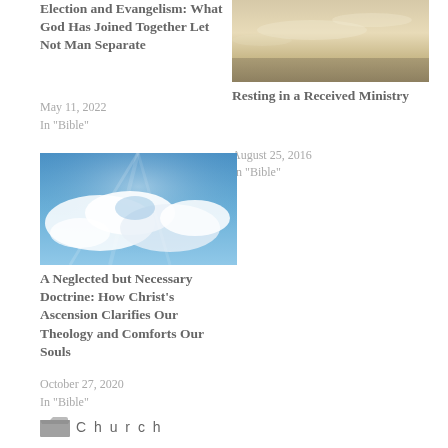Election and Evangelism: What God Has Joined Together Let Not Man Separate
May 11, 2022
In "Bible"
[Figure (photo): Sky with clouds and warm sunset tones (right column top)]
Resting in a Received Ministry
August 25, 2016
In "Bible"
[Figure (photo): Blue sky with white clouds and sunbeams (left column bottom)]
A Neglected but Necessary Doctrine: How Christ's Ascension Clarifies Our Theology and Comforts Our Souls
October 27, 2020
In "Bible"
Church